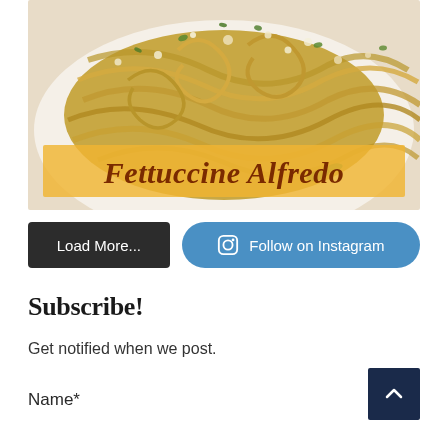[Figure (photo): Close-up photo of Fettuccine Alfredo pasta on a white plate, garnished with grated parmesan and fresh herbs. A yellow-orange semi-transparent banner overlay reads 'Fettuccine Alfredo' in bold italic serif font in dark red/brown color.]
Load More...
Follow on Instagram
Subscribe!
Get notified when we post.
Name*